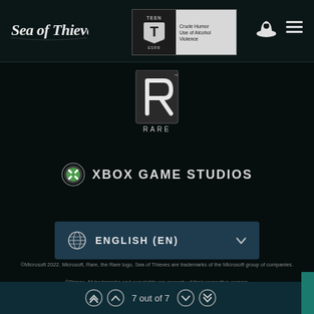[Figure (logo): Sea of Thieves game logo in stylized white text on dark header]
[Figure (logo): ESRB Teen rating box with descriptors: Crude Humor, Use of Alcohol, Violence]
[Figure (logo): Rare studio logo - stylized R with RARE text below]
[Figure (logo): Xbox Game Studios logo with Xbox sphere icon and text XBOX GAME STUDIOS]
ENGLISH (EN)
©Microsoft 2022. Microsoft, Rare, the Rare logo, Sea of Thieves are trademarks of the Microsoft group of companies.
©Disney. All trademarks and copyrights are property of their respective owners.
7 out of 7